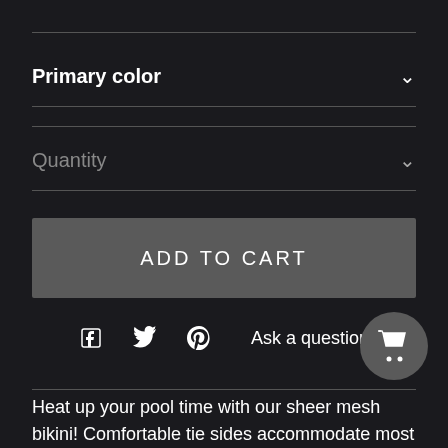Primary color
Quantity
ADD TO CART
[Figure (infographic): Social share icons: Facebook, Twitter, Pinterest, and Ask a question link]
[Figure (infographic): Floating cart bubble icon in bottom right]
Heat up your pool time with our sheer mesh bikini! Comfortable tie sides accommodate most